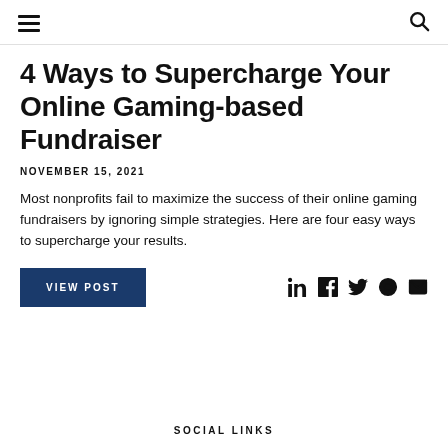Navigation and Search header
4 Ways to Supercharge Your Online Gaming-based Fundraiser
NOVEMBER 15, 2021
Most nonprofits fail to maximize the success of their online gaming fundraisers by ignoring simple strategies. Here are four easy ways to supercharge your results.
VIEW POST
SOCIAL LINKS